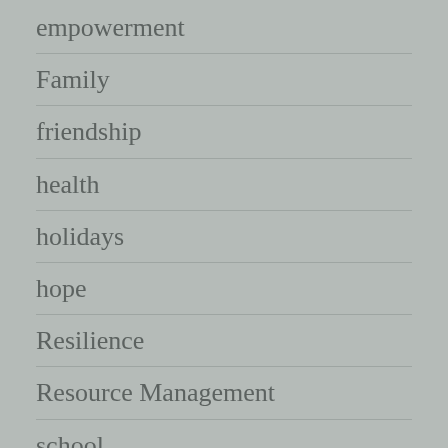empowerment
Family
friendship
health
holidays
hope
Resilience
Resource Management
school
transplant